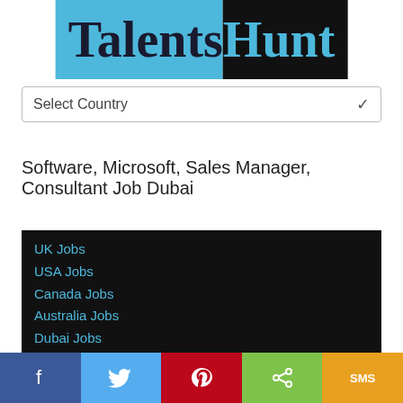TalentsHunt
Select Country
Software, Microsoft, Sales Manager, Consultant Job Dubai
UK Jobs
USA Jobs
Canada Jobs
Australia Jobs
Dubai Jobs
Singapore Jobs
India Jobs
Other Countries